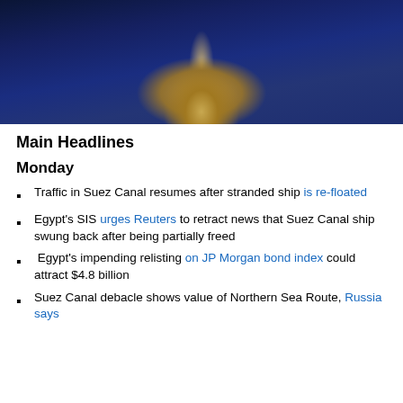[Figure (photo): Photo of people in ancient Egyptian costumes, dressed in blue robes with Egyptian-style headdresses and accessories, holding ceremonial vessels.]
Main Headlines
Monday
Traffic in Suez Canal resumes after stranded ship is re-floated
Egypt's SIS urges Reuters to retract news that Suez Canal ship swung back after being partially freed
Egypt's impending relisting on JP Morgan bond index could attract $4.8 billion
Suez Canal debacle shows value of Northern Sea Route, Russia says